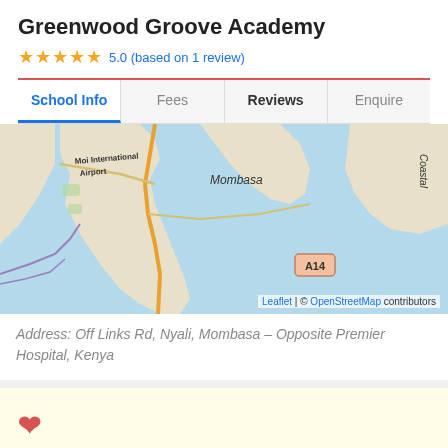Greenwood Groove Academy
5.0 (based on 1 review)
School Info | Fees | Reviews | Enquire
[Figure (map): Map showing Mombasa area with Moi International Airport, Mombasa label, Coastal road, A14 road marker, and surrounding water bodies in light blue.]
Address: Off Links Rd, Nyali, Mombasa – Opposite Premier Hospital, Kenya
❤ Is this school a perfect match for you?
Tell us your preferences and we'll help to...